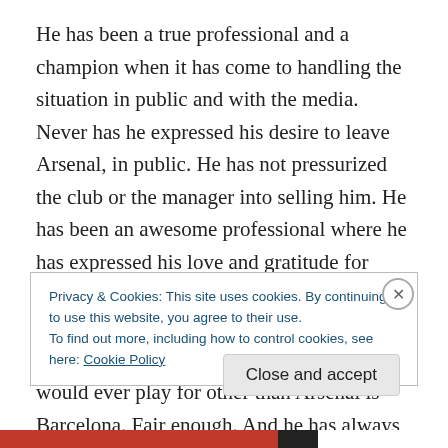He has been a true professional and a champion when it has come to handling the situation in public and with the media. Never has he expressed his desire to leave Arsenal, in public. He has not pressurized the club or the manager into selling him. He has been an awesome professional where he has expressed his love and gratitude for Arsenal. Fabregas himself says that he is under contract to Arsenal, loves the club and the fans and is happy but the only club he would ever play for other than Arsenal is Barcelona. Fair enough. And he has always maintained that it was up to the Arsenal board and
Privacy & Cookies: This site uses cookies. By continuing to use this website, you agree to their use.
To find out more, including how to control cookies, see here: Cookie Policy
Close and accept